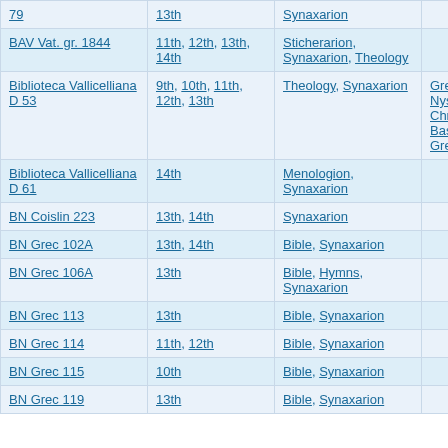| Manuscript | Century | Content | Author |
| --- | --- | --- | --- |
| 79 | 13th | Synaxarion |  |
| BAV Vat. gr. 1844 | 11th, 12th, 13th, 14th | Sticherarion, Synaxarion, Theology |  |
| Biblioteca Vallicelliana D 53 | 9th, 10th, 11th, 12th, 13th | Theology, Synaxarion | Gregory of Nyssa, John Chrysostom, Basil the Great |
| Biblioteca Vallicelliana D 61 | 14th | Menologion, Synaxarion |  |
| BN Coislin 223 | 13th, 14th | Synaxarion |  |
| BN Grec 102A | 13th, 14th | Bible, Synaxarion |  |
| BN Grec 106A | 13th | Bible, Hymns, Synaxarion |  |
| BN Grec 113 | 13th | Bible, Synaxarion |  |
| BN Grec 114 | 11th, 12th | Bible, Synaxarion |  |
| BN Grec 115 | 10th | Bible, Synaxarion |  |
| BN Grec 119 | 13th | Bible, Synaxarion |  |